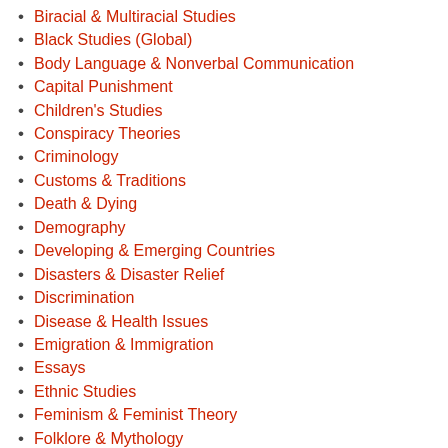Biracial & Multiracial Studies
Black Studies (Global)
Body Language & Nonverbal Communication
Capital Punishment
Children's Studies
Conspiracy Theories
Criminology
Customs & Traditions
Death & Dying
Demography
Developing & Emerging Countries
Disasters & Disaster Relief
Discrimination
Disease & Health Issues
Emigration & Immigration
Essays
Ethnic Studies
Feminism & Feminist Theory
Folklore & Mythology
Freemasonry & Secret Societies